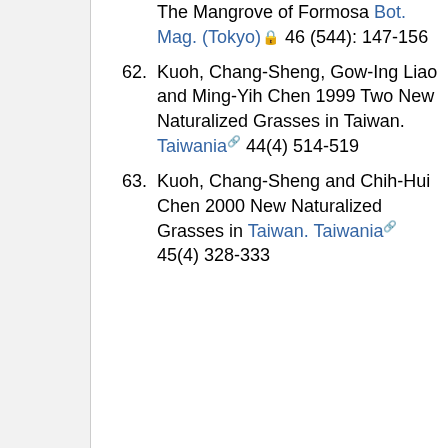The Mangrove of Formosa Bot. Mag. (Tokyo) 46 (544): 147-156
62. Kuoh, Chang-Sheng, Gow-Ing Liao and Ming-Yih Chen 1999 Two New Naturalized Grasses in Taiwan. Taiwania 44(4) 514-519
63. Kuoh, Chang-Sheng and Chih-Hui Chen 2000 New Naturalized Grasses in Taiwan. Taiwania 45(4) 328-333